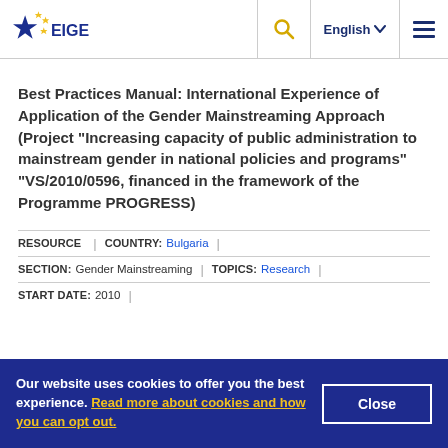EIGE navigation bar with logo, search, language selector (English), and menu
Best Practices Manual: International Experience of Application of the Gender Mainstreaming Approach (Project "Increasing capacity of public administration to mainstream gender in national policies and programs" "VS/2010/0596, financed in the framework of the Programme PROGRESS)
RESOURCE | COUNTRY: Bulgaria | SECTION: Gender Mainstreaming | TOPICS: Research | START DATE: 2010
Our website uses cookies to offer you the best experience. Read more about cookies and how you can opt out.